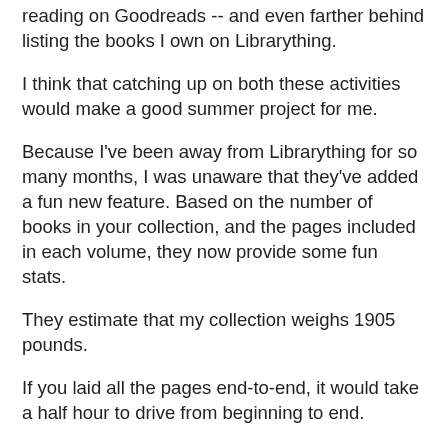reading on Goodreads -- and even farther behind listing the books I own on Librarything.
I think that catching up on both these activities would make a good summer project for me.
Because I've been away from Librarything for so many months, I was unaware that they've added a fun new feature. Based on the number of books in your collection, and the pages included in each volume, they now provide some fun stats.
They estimate that my collection weighs 1905 pounds.
If you laid all the pages end-to-end, it would take a half hour to drive from beginning to end.
And this chart (you may have to click the image to enlarge it) estimates that my books (the blue column) would form a stack 166.3 feet high -- taller than the Statue of Liberty, but not as high as Niagara Falls.